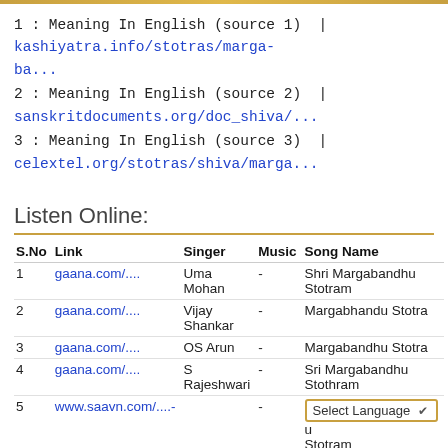1 : Meaning In English (source 1) | kashiyatra.info/stotras/marga-ba...
2 : Meaning In English (source 2) | sanskritdocuments.org/doc_shiva/...
3 : Meaning In English (source 3) | celextel.org/stotras/shiva/marga...
Listen Online:
| S.No | Link | Singer | Music | Song Name |
| --- | --- | --- | --- | --- |
| 1 | gaana.com/.... | Uma Mohan | - | Shri Margabandhu Stotram |
| 2 | gaana.com/.... | Vijay Shankar | - | Margabhandu Stotra |
| 3 | gaana.com/.... | OS Arun | - | Margabandhu Stotra |
| 4 | gaana.com/.... | S Rajeshwari | - | Sri Margabandhu Stothram |
| 5 | www.saavn.com/....- | - | - | Select Language ▾ u Stotram |